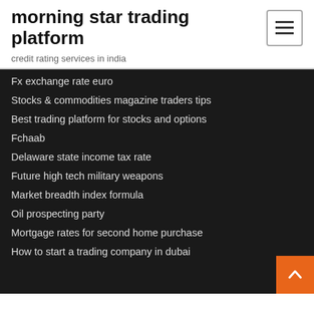morning star trading platform
credit rating services in india
Fx exchange rate euro
Stocks & commodities magazine traders tips
Best trading platform for stocks and options
Fchaab
Delaware state income tax rate
Future high tech military weapons
Market breadth index formula
Oil prospecting party
Mortgage rates for second home purchase
How to start a trading company in dubai